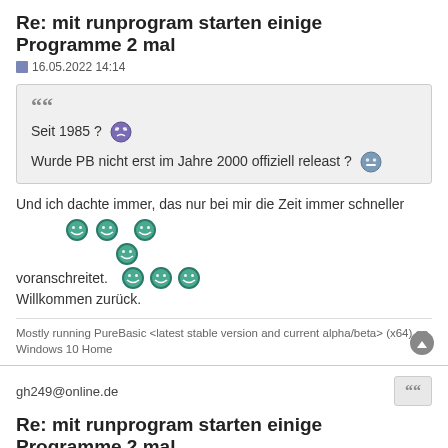Re: mit runprogram starten einige Programme 2 mal
16.05.2022 14:14
Seit 1985 ?
Wurde PB nicht erst im Jahre 2000 offiziell releast ?
Und ich dachte immer, das nur bei mir die Zeit immer schneller voranschreitet.
Willkommen zurück.
Mostly running PureBasic <latest stable version and current alpha/beta> (x64) on Windows 10 Home
gh249@online.de
Re: mit runprogram starten einige Programme 2 mal
17.05.2022 17:48